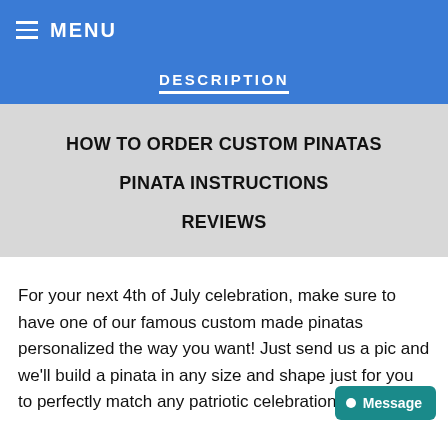≡ MENU
DESCRIPTION
HOW TO ORDER CUSTOM PINATAS
PINATA INSTRUCTIONS
REVIEWS
For your next 4th of July celebration, make sure to have one of our famous custom made pinatas personalized the way you want! Just send us a pic and we'll build a pinata in any size and shape just for you to perfectly match any patriotic celebration.